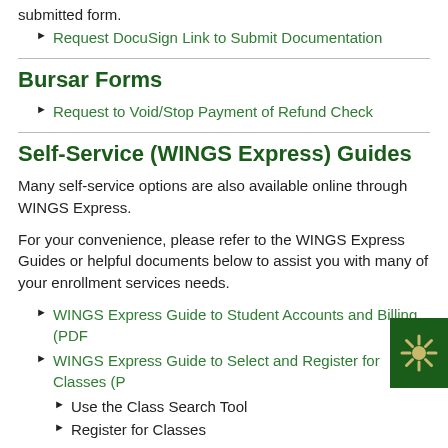submitted form.
Request DocuSign Link to Submit Documentation
Bursar Forms
Request to Void/Stop Payment of Refund Check
Self-Service (WINGS Express) Guides
Many self-service options are also available online through WINGS Express.
For your convenience, please refer to the WINGS Express Guides or helpful documents below to assist you with many of your enrollment services needs.
WINGS Express Guide to Student Accounts and Billing (PDF)
WINGS Express Guide to Select and Register for Classes (P...
Use the Class Search Tool
Register for Classes
Student Proxy Access (SPA) Information (PDF)
WINGS Express Guide to Financial Aid (PDF)